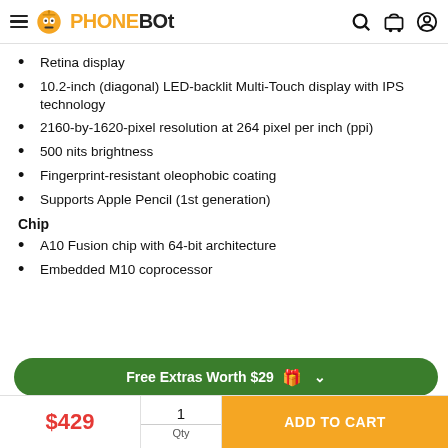PHONEBOT
Retina display
10.2-inch (diagonal) LED-backlit Multi-Touch display with IPS technology
2160-by-1620-pixel resolution at 264 pixel per inch (ppi)
500 nits brightness
Fingerprint-resistant oleophobic coating
Supports Apple Pencil (1st generation)
Chip
A10 Fusion chip with 64-bit architecture
Embedded M10 coprocessor
Free Extras Worth $29
$429  1  Qty  ADD TO CART